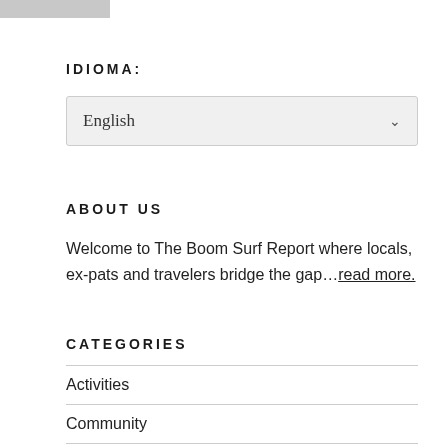IDIOMA:
English
ABOUT US
Welcome to The Boom Surf Report where locals, ex-pats and travelers bridge the gap…read more.
CATEGORIES
Activities
Community